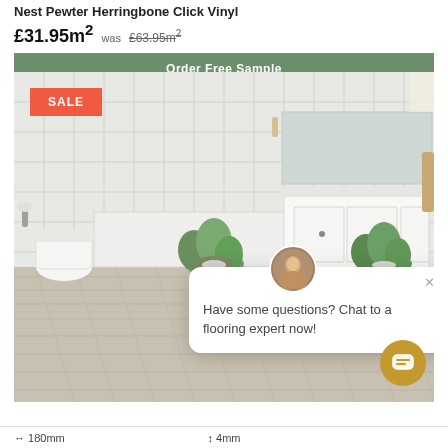Nest Pewter Herringbone Click Vinyl
£31.95m² was £63.95m²
Order Free Sample
[Figure (photo): Bathroom scene showing herringbone click vinyl flooring in pewter colour. White tiled walls, toilet, two potted plants, and white vanity unit. SALE badge overlay top left. Chat popup overlay with avatar photo and text: Have some questions? Chat to a flooring expert now!]
←180mm   ↕ 4mm